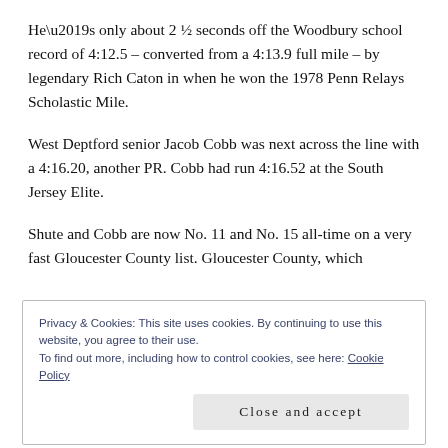He’s only about 2 ½ seconds off the Woodbury school record of 4:12.5 – converted from a 4:13.9 full mile – by legendary Rich Caton in when he won the 1978 Penn Relays Scholastic Mile.
West Deptford senior Jacob Cobb was next across the line with a 4:16.20, another PR. Cobb had run 4:16.52 at the South Jersey Elite.
Shute and Cobb are now No. 11 and No. 15 all-time on a very fast Gloucester County list. Gloucester County, which
Privacy & Cookies: This site uses cookies. By continuing to use this website, you agree to their use.
To find out more, including how to control cookies, see here: Cookie Policy
Close and accept